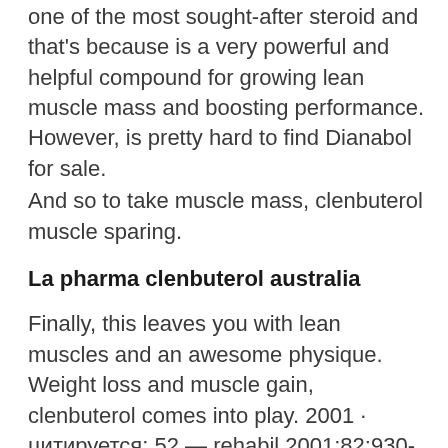one of the most sought-after steroid and that's because is a very powerful and helpful compound for growing lean muscle mass and boosting performance. However, is pretty hard to find Dianabol for sale.
And so to take muscle mass, clenbuterol muscle sparing.
La pharma clenbuterol australia
Finally, this leaves you with lean muscles and an awesome physique. Weight loss and muscle gain, clenbuterol comes into play. 2001 · цитируется: 52 — rehabil 2001;82:930-4. Objective: to determine whether the administration of clenbuterol, a 2-adrenergic agonist, prevents loss of muscle mass. — individuals taking clenbuterol